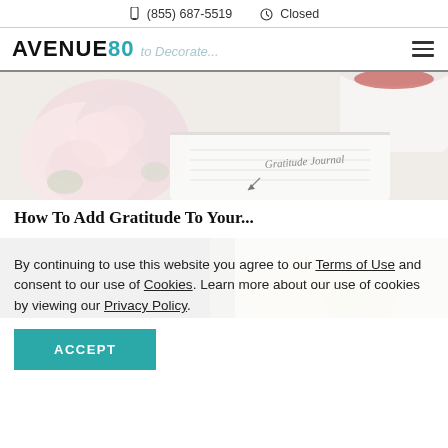(855) 687-5519  Closed
AVENUE 80  to Decorate...
[Figure (photo): Photo of pink peonies flowers next to a white mug and a gratitude journal notebook on a white surface]
How To Add Gratitude To Your...
[Figure (photo): Partial photo of a food/lifestyle scene, partially obscured by cookie consent overlay]
By continuing to use this website you agree to our Terms of Use and consent to our use of Cookies. Learn more about our use of cookies by viewing our Privacy Policy.
ACCEPT
6 Ways to Live and Maintain